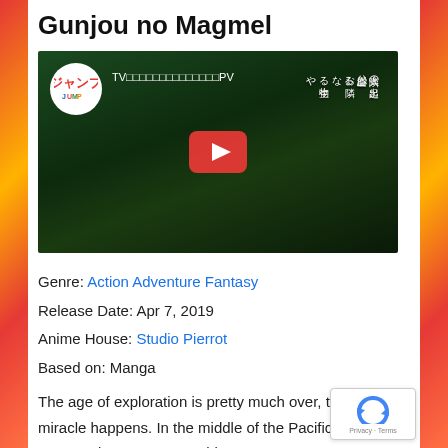Gunjou no Magmel
[Figure (screenshot): YouTube video thumbnail for Gunjou no Magmel TV anime PV, showing a dark jungle scene with the Jump logo on the left, a play button in the center, Japanese text overlay on the right]
Genre: Action Adventure Fantasy
Release Date: Apr 7, 2019
Anime House: Studio Pierrot
Based on: Manga
The age of exploration is pretty much over, that is until a miracle happens. In the middle of the Pacific Ocean a new continent appears! This